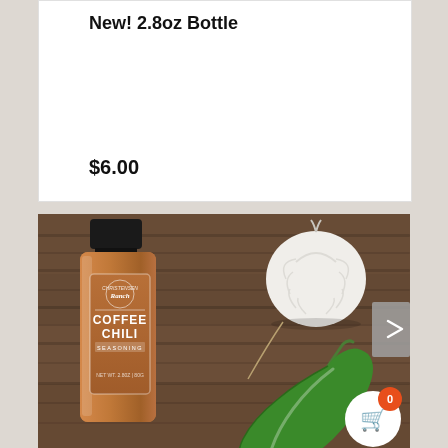New! 2.8oz Bottle
$6.00
[Figure (photo): Product photo of Christensen Ranch Coffee Chili Seasoning 2.8oz bottle on a wooden surface alongside a garlic bulb and a green jalapeño pepper. A shopping cart icon with badge showing 0 is in the bottom right corner.]